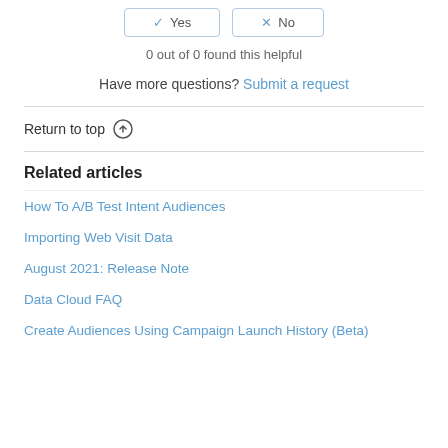0 out of 0 found this helpful
Have more questions? Submit a request
Return to top
Related articles
How To A/B Test Intent Audiences
Importing Web Visit Data
August 2021: Release Note
Data Cloud FAQ
Create Audiences Using Campaign Launch History (Beta)